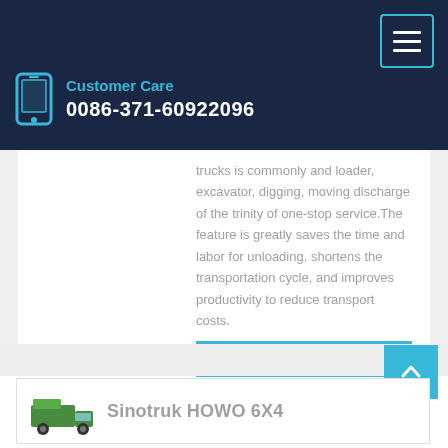Customer Care
0086-371-60922096
trucks is commonly and loader, excavator, digging, moving discharge of the trinity of one-stop service.The feature is greatly saves the time and labor for unloading, shortens the transportation cycle, and improves productivity to reduce transport costs.
Learn More
Sinotruk HOWO 6X4